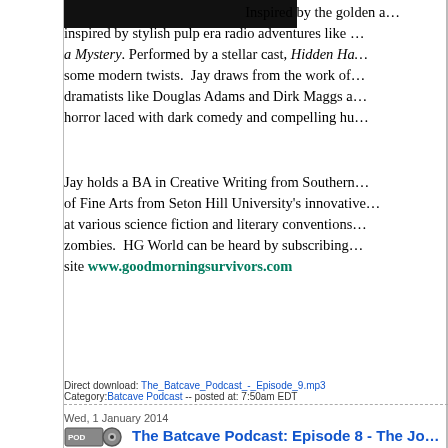[Figure (photo): Dark banner image at top, partially visible, appears to be a show logo or cover art]
Inspired by the golden a… inspired by stylish pulp era radio adventures like … a Mystery. Performed by a stellar cast, Hidden Ha… some modern twists. Jay draws from the work of … dramatists like Douglas Adams and Dirk Maggs a… horror laced with dark comedy and compelling hu…
Jay holds a BA in Creative Writing from Southern… of Fine Arts from Seton Hill University's innovative… at various science fiction and literary conventions… zombies. HG World can be heard by subscribing… site www.goodmorningsurvivors.com
Direct download: The_Batcave_Podcast_-_Episode_9.mp3
Category: Batcave Podcast -- posted at: 7:50am EDT
Wed, 1 January 2014
The Batcave Podcast: Episode 8 - The Jo… Ghoul
[Figure (photo): Photo of a person in mime or clown makeup with white face paint and blonde/light colored hair, against a dark red background]
(RIGHT CLICK T… COMPUTER)
Vending machines…